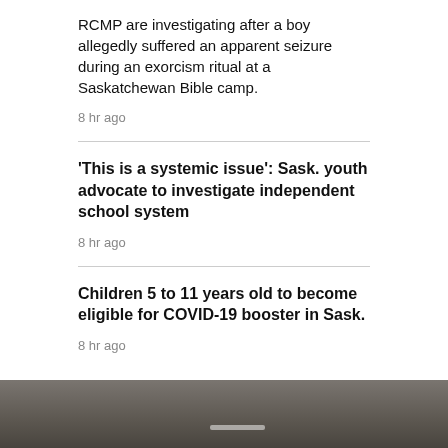RCMP are investigating after a boy allegedly suffered an apparent seizure during an exorcism ritual at a Saskatchewan Bible camp.
8 hr ago
'This is a systemic issue': Sask. youth advocate to investigate independent school system
8 hr ago
Children 5 to 11 years old to become eligible for COVID-19 booster in Sask.
8 hr ago
REGINA >
[Figure (photo): Partial view of an indoor scene, bottom of page]